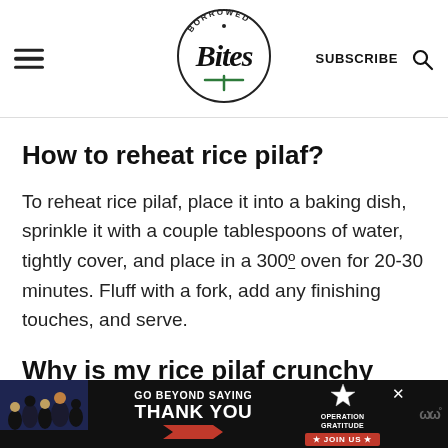Borrowed Bites | SUBSCRIBE
How to reheat rice pilaf?
To reheat rice pilaf, place it into a baking dish, sprinkle it with a couple tablespoons of water, tightly cover, and place in a 300º oven for 20-30 minutes. Fluff with a fork, add any finishing touches, and serve.
Why is my rice pilaf crunchy
[Figure (photo): Advertisement banner: Go Beyond Saying Thank You - Operation Gratitude Join Us]